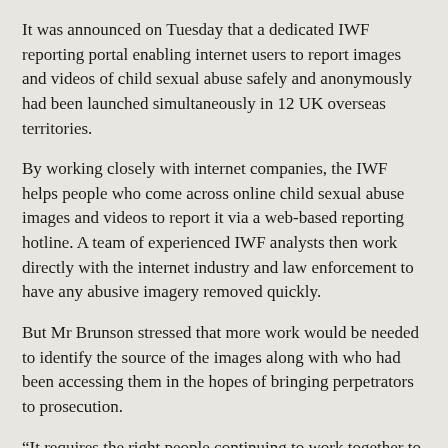It was announced on Tuesday that a dedicated IWF reporting portal enabling internet users to report images and videos of child sexual abuse safely and anonymously had been launched simultaneously in 12 UK overseas territories.
By working closely with internet companies, the IWF helps people who come across online child sexual abuse images and videos to report it via a web-based reporting hotline. A team of experienced IWF analysts then work directly with the internet industry and law enforcement to have any abusive imagery removed quickly.
But Mr Brunson stressed that more work would be needed to identify the source of the images along with who had been accessing them in the hopes of bringing perpetrators to prosecution.
“It requires the right people continuing to work together to battle this thing,” he said.
“Given what the UK overseas territories, in alliance with the IWF, are now intending to do, and the role we play as Bermuda, we now have to work together with the police and the other agencies and